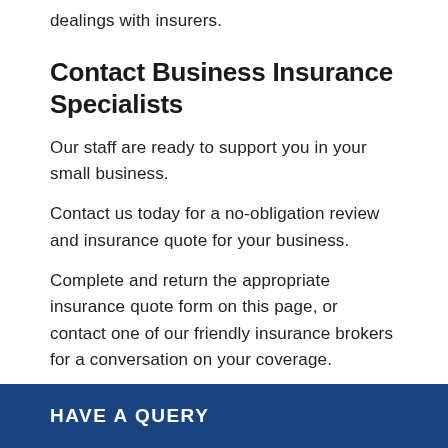dealings with insurers.
Contact Business Insurance Specialists
Our staff are ready to support you in your small business.
Contact us today for a no-obligation review and insurance quote for your business.
Complete and return the appropriate insurance quote form on this page, or contact one of our friendly insurance brokers for a conversation on your coverage.
HAVE A QUERY